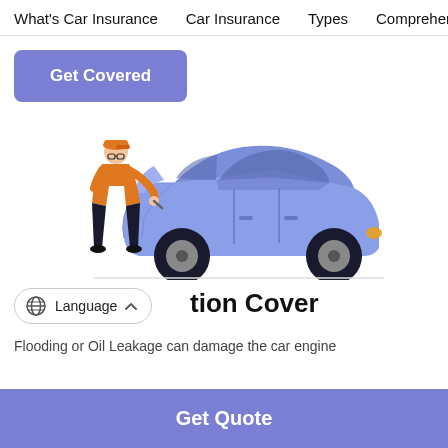What's Car Insurance   Car Insurance   Types   Comprehen...
Get Covered
[Figure (illustration): Illustration of a mechanic in orange outfit and cap leaning over the open hood of a blue/purple sedan car, inspecting the engine.]
...tion Cover
Language (dropdown widget)
Flooding or Oil Leakage can damage the car engine...
Get Quote